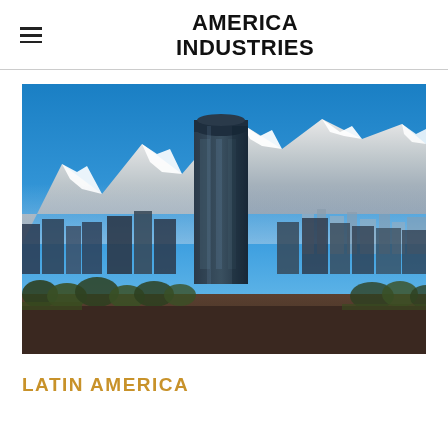AMERICA INDUSTRIES
[Figure (photo): Cityscape of Santiago, Chile with the Gran Torre skyscraper prominently in the center, snow-capped Andes mountains in the background, clear blue sky, and urban buildings and trees in the foreground.]
LATIN AMERICA